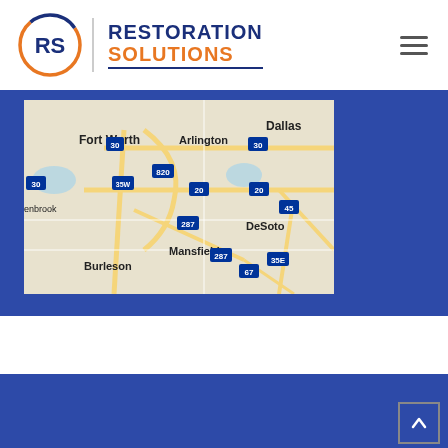[Figure (logo): Restoration Solutions logo with RS circular emblem and company name in blue and orange]
[Figure (map): Google Maps view of Dallas-Fort Worth area showing Fort Worth, Arlington, DeSoto, Mansfield, Burleson areas with highway labels including 30, 820, 35W, 20, 287, 45, 35E, 67]